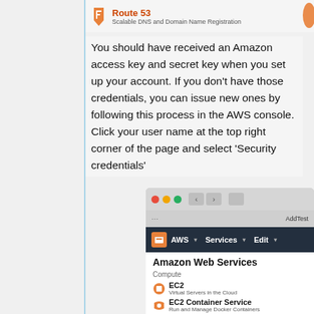[Figure (screenshot): Route 53 service icon with title 'Route 53' and subtitle 'Scalable DNS and Domain Name Registration']
You should have received an Amazon access key and secret key when you set up your account. If you don't have those credentials, you can issue new ones by following this process in the AWS console. Click your user name at the top right corner of the page and select 'Security credentials'
[Figure (screenshot): Screenshot of AWS Management Console showing the Services menu dropdown with Amazon Web Services heading and Compute section listing EC2, EC2 Container Service, Elastic Beanstalk, and Lambda services.]